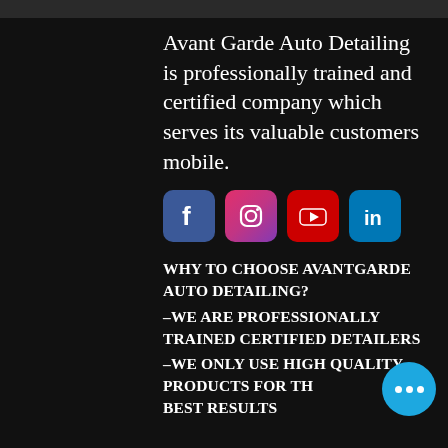Avant Garde Auto Detailing is professionally trained and certified company which serves its valuable customers mobile.
[Figure (infographic): Four social media icons in a row: Facebook (blue), Instagram (pink/purple gradient), YouTube (red), LinkedIn (blue)]
WHY TO CHOOSE AVANTGARDE AUTO DETAILING?
–WE ARE PROFESSIONALLY TRAINED CERTIFIED DETAILERS
–WE ONLY USE HIGH QUALITY PRODUCTS FOR THE BEST RESULTS